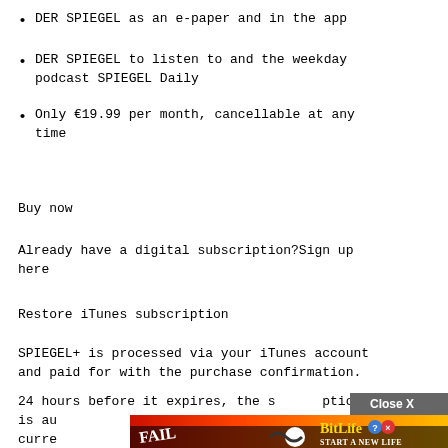DER SPIEGEL as an e-paper and in the app
DER SPIEGEL to listen to and the weekday podcast SPIEGEL Daily
Only €19.99 per month, cancellable at any time
Buy now
Already have a digital subscription?Sign up here
Restore iTunes subscription
SPIEGEL+ is processed via your iTunes account and paid for with the purchase confirmation.
24 hours before it expires, the subscription is automatically renewed at the current
[Figure (screenshot): Advertisement overlay: BitLife 'Start A New Life' app ad with Close X button and colorful fire background, partially obscuring the text below.]